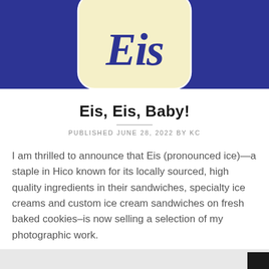[Figure (logo): Eis logo: dark navy blue background with a rounded rectangle containing cream/yellow background and 'Eis' written in large dark navy cursive/script lettering. The container shape resembles a jar or can.]
Eis, Eis, Baby!
PUBLISHED JUNE 28, 2022 BY KC
I am thrilled to announce that Eis (pronounced ice)—a staple in Hico known for its locally sourced, high quality ingredients in their sandwiches, specialty ice creams and custom ice cream sandwiches on fresh baked cookies–is now selling a selection of my photographic work.